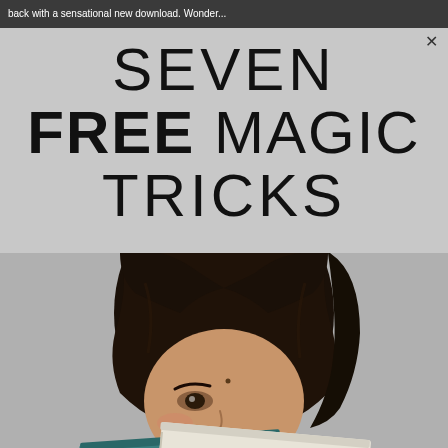back with a sensational new download. Wonder...
SEVEN FREE MAGIC TRICKS
[Figure (photo): Young woman with dark hair peeking over two stacked books (a teal/green book and a white book) she holds up, against a grey background]